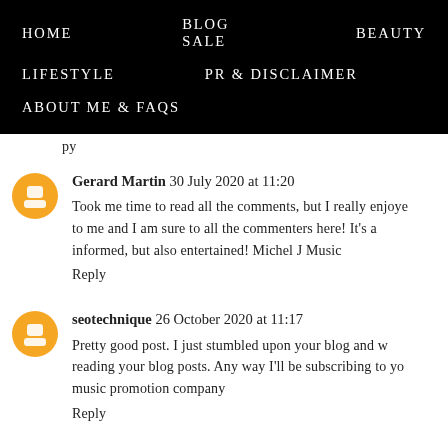HOME   BLOG SALE   BEAUTY   LIFESTYLE   PR & DISCLAIMER   ABOUT ME & FAQs
py
Gerard Martin  30 July 2020 at 11:20
Took me time to read all the comments, but I really enjoyed to me and I am sure to all the commenters here! It's a informed, but also entertained! Michel J Music
Reply
seotechnique  26 October 2020 at 11:17
Pretty good post. I just stumbled upon your blog and w reading your blog posts. Any way I'll be subscribing to yo music promotion company
Reply